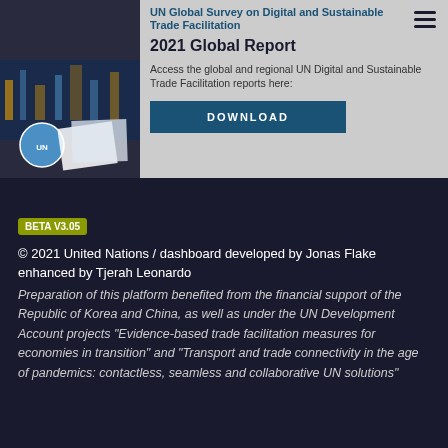[Figure (screenshot): UN Global Survey on Digital and Sustainable Trade Facilitation 2021 Global Report banner with report cover image on left and download button on right]
BETA V3.05  © 2021 United Nations / dashboard developed by Jonas Flake enhanced by Tjerah Leonardo
Preparation of this platform benefited from the financial support of the Republic of Korea and China, as well as under the UN Development Account projects "Evidence-based trade facilitation measures for economies in transition" and "Transport and trade connectivity in the age of pandemics: contactless, seamless and collaborative UN solutions"